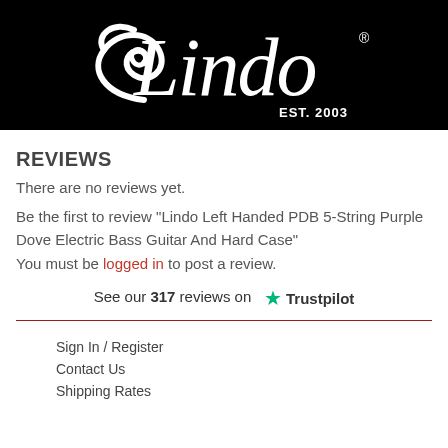[Figure (logo): Lindo brand logo: white cursive script 'Lindo' with decorative swirl on black background, with 'EST. 2003' text]
REVIEWS
There are no reviews yet.
Be the first to review “Lindo Left Handed PDB 5-String Purple Dove Electric Bass Guitar And Hard Case”
You must be logged in to post a review.
See our 317 reviews on Trustpilot
Sign In / Register
Contact Us
Shipping Rates